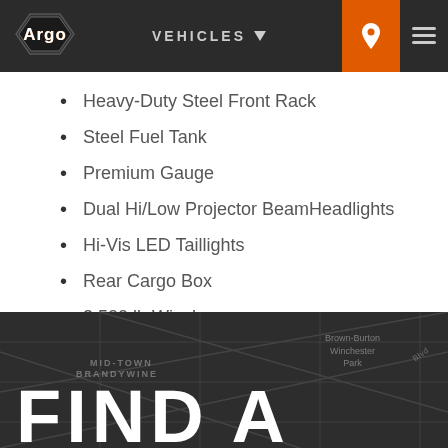ARGO | VEHICLES
Heavy-Duty Steel Front Rack
Steel Fuel Tank
Premium Gauge
Dual Hi/Low Projector Beam Headlights
Hi-Vis LED Taillights
Rear Cargo Box
3,500 lb Winch
Premium HDPE Body Plastics
Color: TrueTimber Prairie Camo
[Figure (map): Dark map background with street grid overlay showing Mid-Town Brandywine area, with large white text reading FIND A]